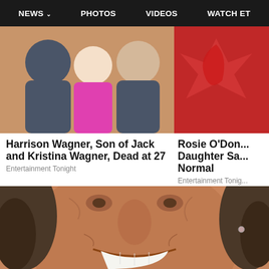NEWS  PHOTOS  VIDEOS  WATCH ET
[Figure (photo): Two people posing together, one in a pink top, one in a dark polo shirt, orange background]
[Figure (photo): Red background with partial star/hand shape visible]
Harrison Wagner, Son of Jack and Kristina Wagner, Dead at 27
Entertainment Tonight
Rosie O'Don... Daughter Sa... Normal
Entertainment Tonig...
[Figure (photo): Close-up face of an older man with tanned wrinkled skin, big smile showing white teeth, dark shoulder-length hair with earring visible on right ear]